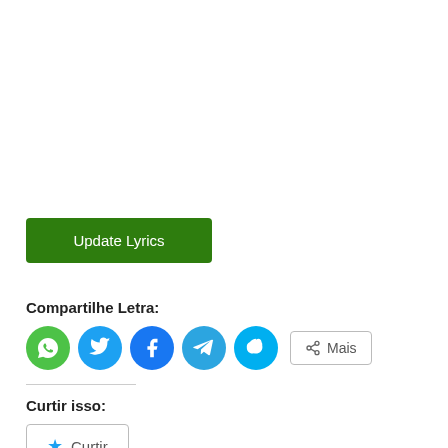[Figure (other): Green 'Update Lyrics' button]
Compartilhe Letra:
[Figure (infographic): Social sharing icons: WhatsApp (green), Twitter (light blue), Facebook (blue), Telegram (blue), Skype (cyan), and a 'Mais' (More) button]
Curtir isso:
[Figure (other): Curtir (Like) button with blue star icon]
Seja o primeiro a curtir este post.